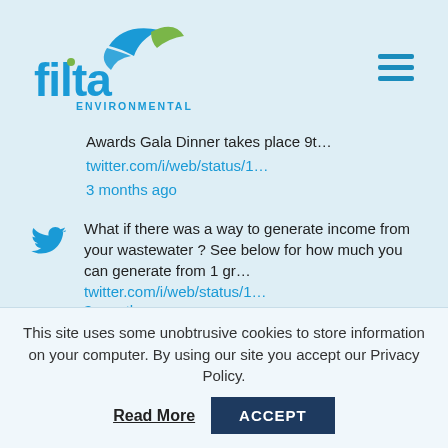[Figure (logo): Filta Environmental logo with blue swoosh/leaf graphic and blue text]
Awards Gala Dinner takes place 9t…
twitter.com/i/web/status/1…
3 months ago
What if there was a way to generate income from your wastewater ? See below for how much you can generate from 1 gr…
twitter.com/i/web/status/1…
3 months ago
This site uses some unobtrusive cookies to store information on your computer. By using our site you accept our Privacy Policy.
Read More
ACCEPT